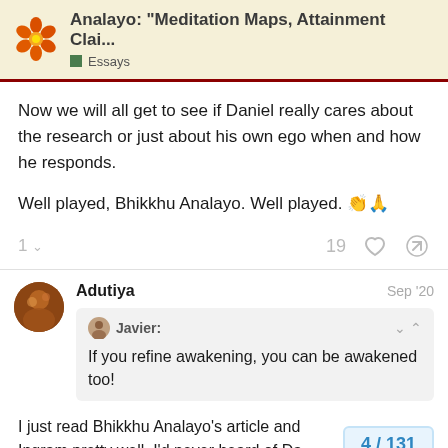Analayo: "Meditation Maps, Attainment Clai... | Essays
Now we will all get to see if Daniel really cares about the research or just about his own ego when and how he responds.
Well played, Bhikkhu Analayo. Well played. 👏🙏
1  19
Adutiya  Sep '20
Javier: If you refine awakening, you can be awakened too!
I just read Bhikkhu Analayo's article and Ingram pretty well. I'd never heard of Da
4 / 131